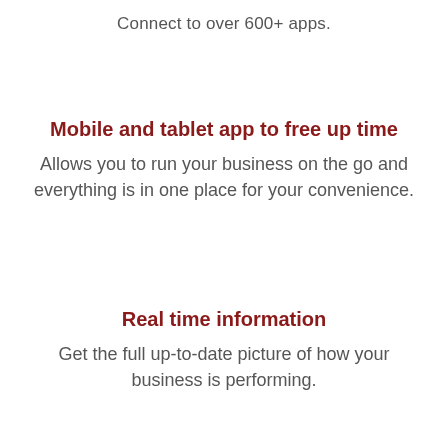Connect to over 600+ apps.
Mobile and tablet app to free up time
Allows you to run your business on the go and everything is in one place for your convenience.
Real time information
Get the full up-to-date picture of how your business is performing.